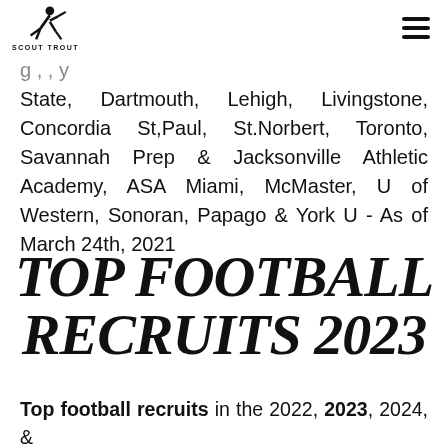SCOUT TROUT
State, Dartmouth, Lehigh, Livingstone, Concordia St,Paul, St.Norbert, Toronto, Savannah Prep & Jacksonville Athletic Academy, ASA Miami, McMaster, U of Western, Sonoran, Papago & York U - As of March 24th, 2021
TOP FOOTBALL RECRUITS 2023
Top football recruits in the 2022, 2023, 2024, & 2025 football recruiting classes will be evaluated